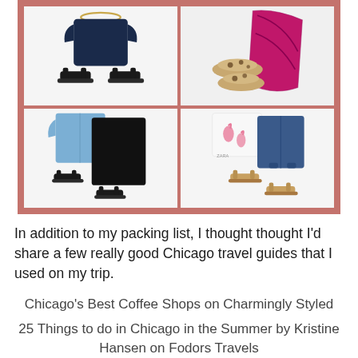[Figure (photo): A collage of four clothing flat-lay photos on a salmon/rose background. Top-left: navy top and black sandals on white. Top-right: leopard flats and magenta/pink floral fabric. Bottom-left: blue chambray shirt, black pants, and black sandals. Bottom-right: white flamingo-print top, denim shorts, and tan sandals.]
In addition to my packing list, I thought thought I'd share a few really good Chicago travel guides that I used on my trip.
Chicago's Best Coffee Shops on Charmingly Styled
25 Things to do in Chicago in the Summer by Kristine Hansen on Fodors Travels